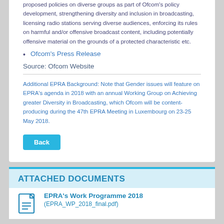proposed policies on diverse groups as part of Ofcom's policy development, strengthening diversity and inclusion in broadcasting, licensing radio stations serving diverse audiences, enforcing its rules on harmful and/or offensive broadcast content, including potentially offensive material on the grounds of a protected characteristic etc.
Ofcom's Press Release
Source: Ofcom Website
Additional EPRA Background: Note that Gender issues will feature on EPRA's agenda in 2018 with an annual Working Group on Achieving greater Diversity in Broadcasting, which Ofcom will be content-producing during the 47th EPRA Meeting in Luxembourg on 23-25 May 2018.
ATTACHED DOCUMENTS
EPRA's Work Programme 2018
(EPRA_WP_2018_final.pdf)